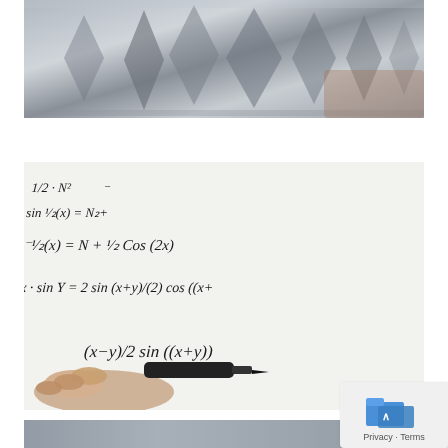[Figure (photo): Metallic or foil textured surface, grayscale, showing pointed/arrow-like shapes]
[Figure (photo): Hand writing mathematical equations (trigonometry: sin, cos, x, y) on a whiteboard with a black marker. Equations visible include sin 1/2(x)=N2+, 1/2 Cos(2x), x-sin y=2 sin (x+y)/(2), cos((x+), (x-y)/2 sin((x+y))]
DRY-ERASE
[Figure (photo): Blurred abstract background, light gray/blue tones]
[Figure (screenshot): Privacy - Terms overlay box with blue folder icon and arrow symbol]